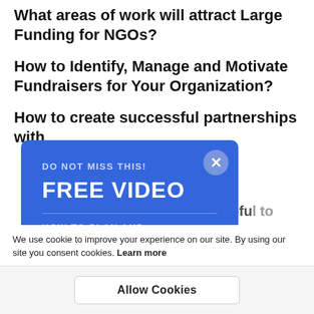What areas of work will attract Large Funding for NGOs?
How to Identify, Manage and Motivate Fundraisers for Your Organization?
How to create successful partnerships with
[Figure (screenshot): Blue popup modal overlay with 'DO NOT MISS THIS! FREE VIDEO' text, close button, divider, and 'HOW TO PLAN AND' partial text. Also shows 'USAID PROPOSAL' and 'PLAY NOW' button at bottom.]
helpful to Enhance
falling for phishing
We use cookie to improve your experience on our site. By using our site you consent cookies. Learn more
Allow Cookies